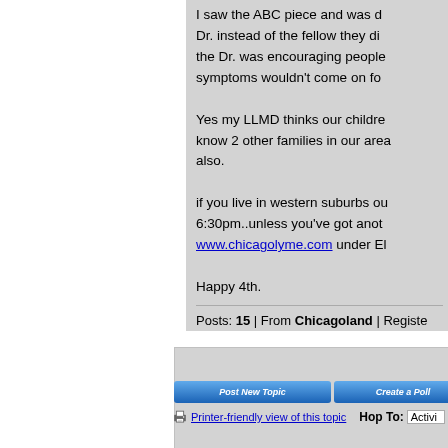I saw the ABC piece and was d... Dr. instead of the fellow they di... the Dr. was encouraging people... symptoms wouldn't come on fo...
Yes my LLMD thinks our childre... know 2 other families in our area... also.
if you live in western suburbs ou... 6:30pm..unless you've got anoth... www.chicagolyme.com under El...
Happy 4th.
Posts: 15 | From Chicagoland | Registe...
[Figure (screenshot): Forum post reply/poll action buttons: Post New Topic, Create a Poll, Post R(eply)]
Printer-friendly view of this topic   Hop To: Activi...